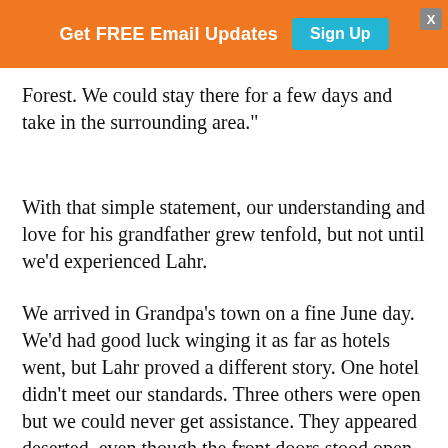town where my Grandfather Kopp grew up." His finger
Get FREE Email Updates  Sign Up
Forest. We could stay there for a few days and take in the surrounding area."
With that simple statement, our understanding and love for his grandfather grew tenfold, but not until we'd experienced Lahr.
We arrived in Grandpa's town on a fine June day. We'd had good luck winging it as far as hotels went, but Lahr proved a different story. One hotel didn't meet our standards. Three others were open but we could never get assistance. They appeared deserted, even though the front doors stood open. We began to wonder what kind of place we'd come to.
We continued to drive up one street and down another. Around a curve, we happened on a place I warmed to immediately. I sent Ken in to look and book. It proved fit for kings and queens, and that's who could afford to stay there